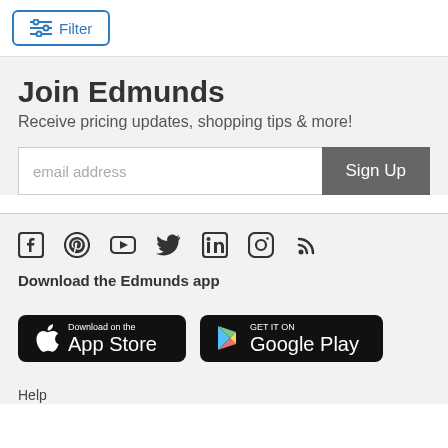[Figure (screenshot): Filter button with sliders icon and blue border]
Join Edmunds
Receive pricing updates, shopping tips & more!
[Figure (screenshot): Email address input field with Sign Up button]
[Figure (infographic): Social media icons: Facebook, Pinterest, YouTube, Twitter, LinkedIn, Instagram, RSS]
Download the Edmunds app
[Figure (screenshot): App Store and Google Play download badges]
Help